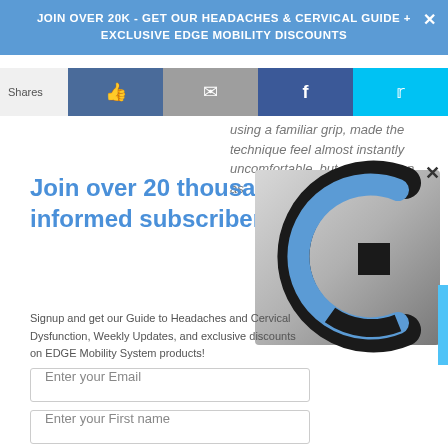JOIN OVER 20K - GET OUR HEADACHES & CERVICAL GUIDE + EXCLUSIVE EDGE MOBILITY DISCOUNTS
Shares
using a familiar grip, made the technique feel almost instantly uncomfortable, but also as soon as
Join over 20 thousand informed subscribers
[Figure (logo): Edge Mobility System logo - circular C-shaped icon in blue and black on gray gradient background]
Signup and get our Guide to Headaches and Cervical Dysfunction, Weekly Updates, and exclusive discounts on EDGE Mobility System products!
Enter your Email
Enter your First name